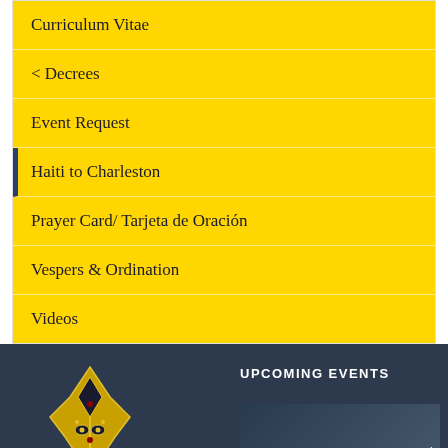Curriculum Vitae
< Decrees
Event Request
Haiti to Charleston
Prayer Card/ Tarjeta de Oración
Vespers & Ordination
Videos
UPCOMING EVENTS
[Figure (logo): Religious/episcopal crest or coat of arms with ornate golden design on dark navy background]
[Figure (photo): Partially visible event photo thumbnail with right arrow navigation]